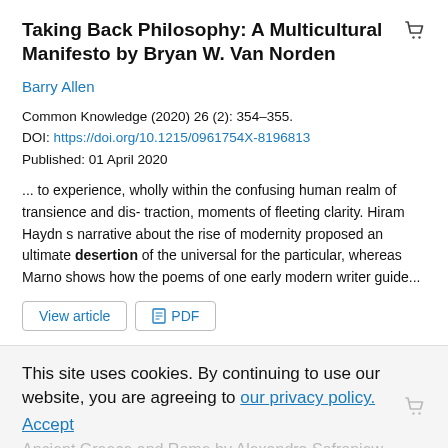Taking Back Philosophy: A Multicultural Manifesto by Bryan W. Van Norden
Barry Allen
Common Knowledge (2020) 26 (2): 354–355.
DOI: https://doi.org/10.1215/0961754X-8196813
Published: 01 April 2020
... to experience, wholly within the confusing human realm of transience and dis- traction, moments of fleeting clarity. Hiram Haydn s narrative about the rise of modernity proposed an ultimate desertion of the universal for the particular, whereas Marno shows how the poems of one early modern writer guide...
This site uses cookies. By continuing to use our website, you are agreeing to our privacy policy. Accept
Ancient Greece and Rome by Alexandra Sofroniew